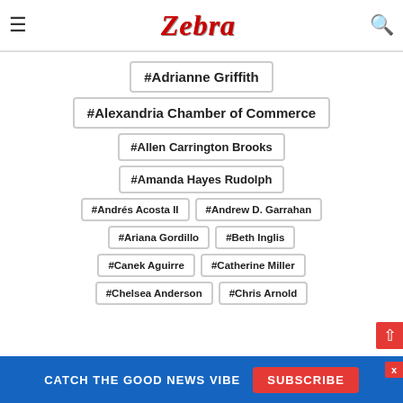Zebra (logo/site header)
#Adrianne Griffith
#Alexandria Chamber of Commerce
#Allen Carrington Brooks
#Amanda Hayes Rudolph
#Andrés Acosta II
#Andrew D. Garrahan
#Ariana Gordillo
#Beth Inglis
#Canek Aguirre
#Catherine Miller
#Chelsea Anderson
#Chris Arnold
CATCH THE GOOD NEWS VIBE  SUBSCRIBE